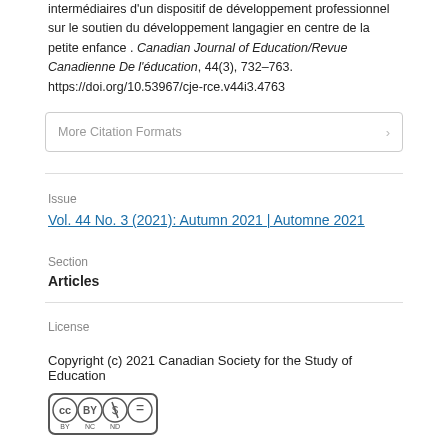intermédiaires d'un dispositif de développement professionnel sur le soutien du développement langagier en centre de la petite enfance . Canadian Journal of Education/Revue Canadienne De l'éducation, 44(3), 732–763. https://doi.org/10.53967/cje-rce.v44i3.4763
More Citation Formats
Issue
Vol. 44 No. 3 (2021): Autumn 2021 | Automne 2021
Section
Articles
License
Copyright (c) 2021 Canadian Society for the Study of Education
[Figure (logo): Creative Commons BY-NC-ND license badge showing CC, BY, NC, ND icons in a rounded rectangle]